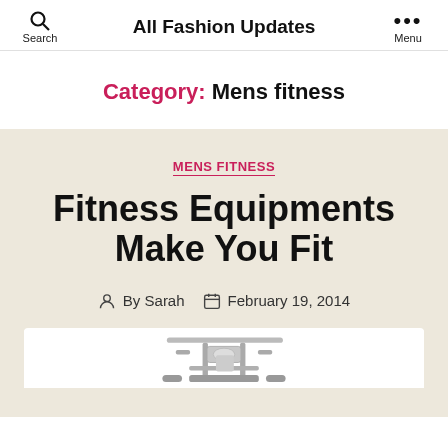Search | All Fashion Updates | Menu
Category: Mens fitness
MENS FITNESS
Fitness Equipments Make You Fit
By Sarah  February 19, 2014
[Figure (photo): Gym fitness machine equipment photo at bottom of page]